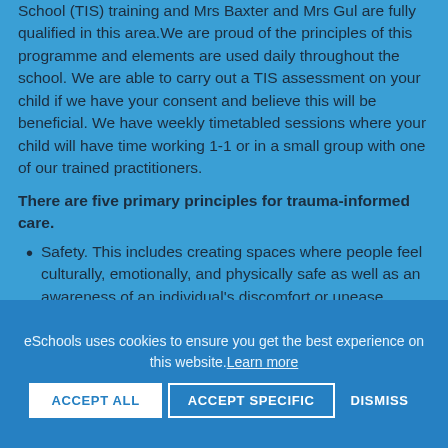School (TIS) training and Mrs Baxter and Mrs Gul are fully qualified in this area.We are proud of the principles of this programme and elements are used daily throughout the school. We are able to carry out a TIS assessment on your child if we have your consent and believe this will be beneficial. We have weekly timetabled sessions where your child will have time working 1-1 or in a small group with one of our trained practitioners.
There are five primary principles for trauma-informed care.
Safety. This includes creating spaces where people feel culturally, emotionally, and physically safe as well as an awareness of an individual's discomfort or unease.
eSchools uses cookies to ensure you get the best experience on this website. Learn more